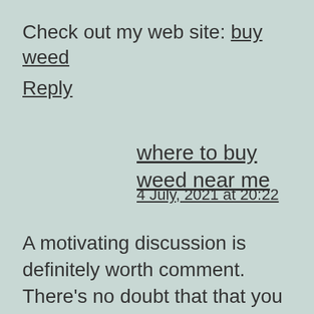Check out my web site: buy weed
Reply
where to buy weed near me
4 July, 2021 at 20:22
A motivating discussion is definitely worth comment. There's no doubt that that you need to publish more on this subject matter, it may not be a taboo subject but usually people don't speak about such topics. To the next!